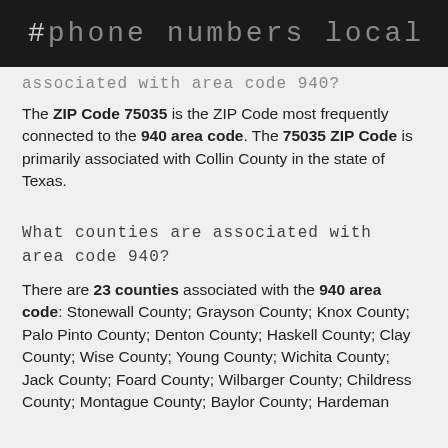# phone numbers local
associated with area code 940?
The ZIP Code 75035 is the ZIP Code most frequently connected to the 940 area code. The 75035 ZIP Code is primarily associated with Collin County in the state of Texas.
What counties are associated with area code 940?
There are 23 counties associated with the 940 area code: Stonewall County; Grayson County; Knox County; Palo Pinto County; Denton County; Haskell County; Clay County; Wise County; Young County; Wichita County; Jack County; Foard County; Wilbarger County; Childress County; Montague County; Baylor County; Hardeman